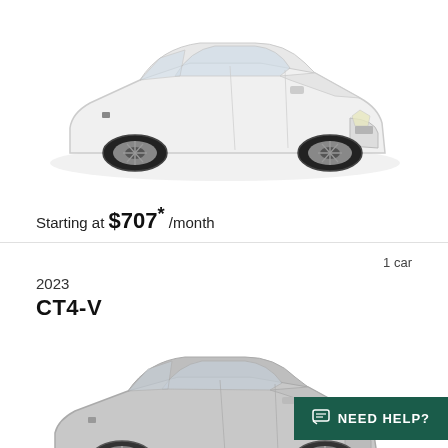[Figure (photo): White Cadillac sedan (CT4 series) shown from a 3/4 front-left angle on a white background.]
Starting at $707* /month
1 car
2023
CT4-V
[Figure (photo): Silver/gray Cadillac CT4-V sedan shown from a 3/4 front-left angle on a white background.]
NEED HELP?